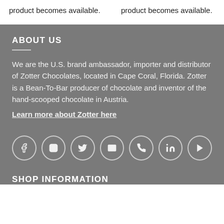product becomes available.
product becomes available.
ABOUT US
We are the U.S. brand ambassador, importer and distributor of Zotter Chocolates, located in Cape Coral, Florida. Zotter is a Bean-To-Bar producer of chocolate and inventor of the hand-scooped chocolate in Austria.
Learn more about Zotter here
[Figure (infographic): Row of seven social media icon circles: Facebook, Instagram, Twitter/X, Email, Phone, LinkedIn, YouTube]
SHOP INFORMATION